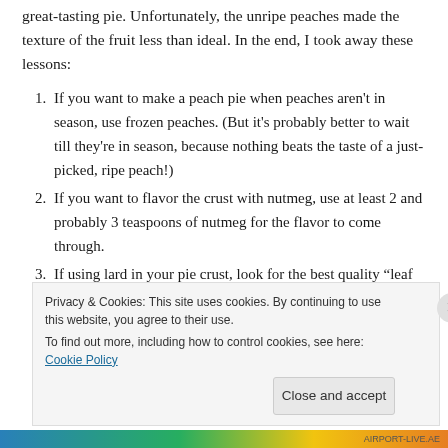great-tasting pie. Unfortunately, the unripe peaches made the texture of the fruit less than ideal. In the end, I took away these lessons:
If you want to make a peach pie when peaches aren't in season, use frozen peaches. (But it's probably better to wait till they're in season, because nothing beats the taste of a just-picked, ripe peach!)
If you want to flavor the crust with nutmeg, use at least 2 and probably 3 teaspoons of nutmeg for the flavor to come through.
If using lard in your pie crust, look for the best quality “leaf lard” which is the highest grade there is and will not leave a
Privacy & Cookies: This site uses cookies. By continuing to use this website, you agree to their use.
To find out more, including how to control cookies, see here: Cookie Policy
AIRPORT-LIVE.AE